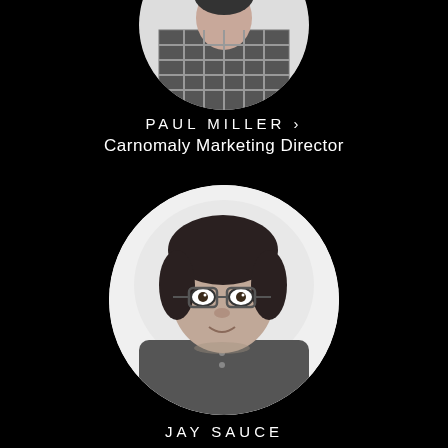[Figure (photo): Partial top of a person in a plaid shirt, cropped circular portrait, black and white, at the top center of the page]
PAUL MILLER ›
Carnomaly Marketing Director
[Figure (photo): Black and white circular portrait photo of a man with glasses, dark hair, wearing a dark henley shirt, smiling slightly]
JAY SAUCE